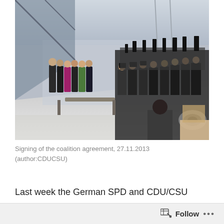[Figure (photo): A group of politicians standing in a line in a large modern building lobby, being photographed by a large crowd of press photographers and journalists with cameras and microphones. Signing of the coalition agreement event, 27.11.2013.]
Signing of the coalition agreement, 27.11.2013 (author:CDUCSU)
Last week the German SPD and CDU/CSU signed the agreement for forming a grand coalition. This 185 page long document sets out the agenda for the new government has been negotiated now for some 2 months. It also discusses EU enlargement, making it a key
Follow ...